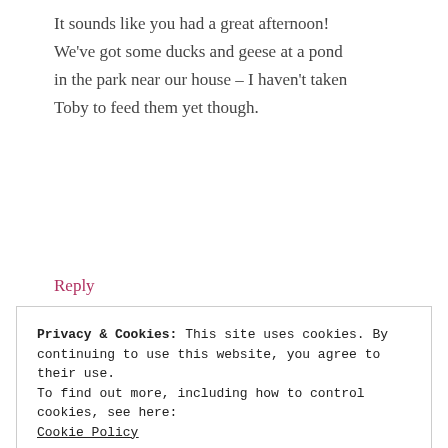It sounds like you had a great afternoon! We've got some ducks and geese at a pond in the park near our house – I haven't taken Toby to feed them yet though.
Reply
ritz says
Privacy & Cookies: This site uses cookies. By continuing to use this website, you agree to their use.
To find out more, including how to control cookies, see here:
Cookie Policy
Close and accept
fun! xx